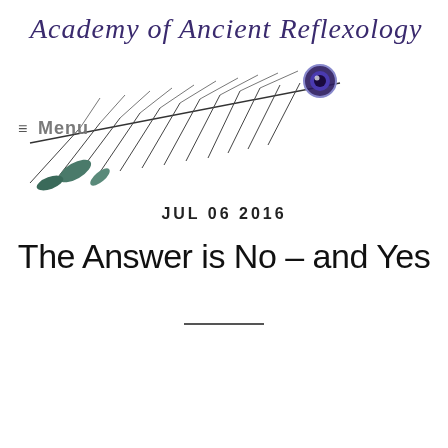Academy of Ancient Reflexology
≡ Menu
JUL 06 2016
The Answer is No – and Yes
[Figure (photo): A person holding a camera lens up to the viewer, with a blurred face behind the camera]
I have struggled for years when asked if